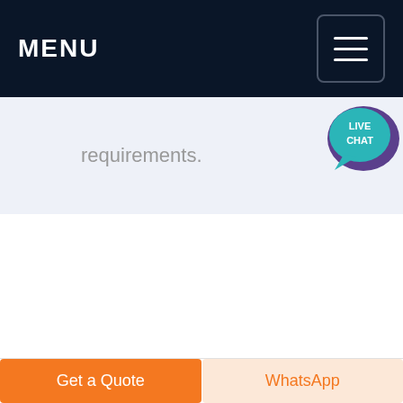MENU
requirements.
[Figure (other): Live Chat speech bubble icon with teal/purple colors and white text reading LIVE CHAT]
Get a Quote
WhatsApp